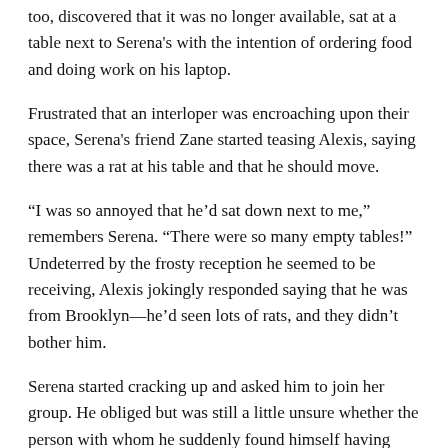too, discovered that it was no longer available, sat at a table next to Serena's with the intention of ordering food and doing work on his laptop.
Frustrated that an interloper was encroaching upon their space, Serena's friend Zane started teasing Alexis, saying there was a rat at his table and that he should move.
“I was so annoyed that he’d sat down next to me,” remembers Serena. “There were so many empty tables!” Undeterred by the frosty reception he seemed to be receiving, Alexis jokingly responded saying that he was from Brooklyn—he’d seen lots of rats, and they didn’t bother him.
Serena started cracking up and asked him to join her group. He obliged but was still a little unsure whether the person with whom he suddenly found himself having breakfast was actually the Serena Williams.